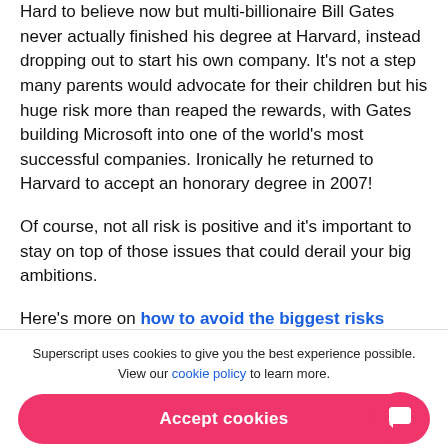Hard to believe now but multi-billionaire Bill Gates never actually finished his degree at Harvard, instead dropping out to start his own company. It's not a step many parents would advocate for their children but his huge risk more than reaped the rewards, with Gates building Microsoft into one of the world's most successful companies. Ironically he returned to Harvard to accept an honorary degree in 2007!
Of course, not all risk is positive and it's important to stay on top of those issues that could derail your big ambitions.
Here's more on how to avoid the biggest risks facing small businesses.
Superscript uses cookies to give you the best experience possible. View our cookie policy to learn more.